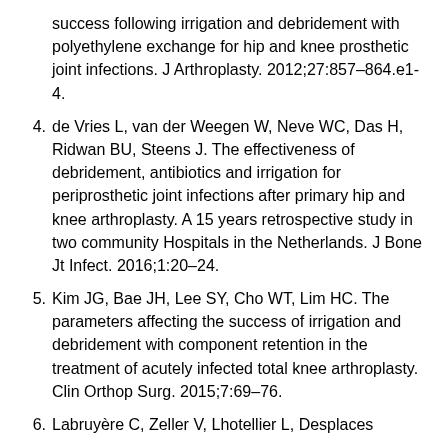success following irrigation and debridement with polyethylene exchange for hip and knee prosthetic joint infections. J Arthroplasty. 2012;27:857–864.e1-4.
4. de Vries L, van der Weegen W, Neve WC, Das H, Ridwan BU, Steens J. The effectiveness of debridement, antibiotics and irrigation for periprosthetic joint infections after primary hip and knee arthroplasty. A 15 years retrospective study in two community Hospitals in the Netherlands. J Bone Jt Infect. 2016;1:20–24.
5. Kim JG, Bae JH, Lee SY, Cho WT, Lim HC. The parameters affecting the success of irrigation and debridement with component retention in the treatment of acutely infected total knee arthroplasty. Clin Orthop Surg. 2015;7:69–76.
6. Labruyère C, Zeller V, Lhotellier L, Desplaces...